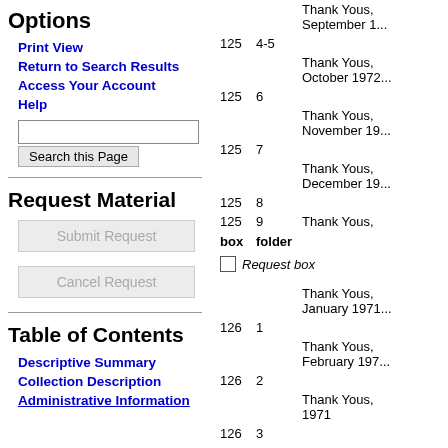Options
Print View
Return to Search Results
Access Your Account
Help
Request Material
Table of Contents
Descriptive Summary
Collection Description
Administrative Information
| box | folder |  |
| --- | --- | --- |
| 125 | 4-5 | Thank Yous, September 1... |
| 125 | 6 | Thank Yous, October 1972... |
| 125 | 7 | Thank Yous, November 19... |
| 125 | 8 | Thank Yous, December 19... |
| 125 | 9 | Thank Yous, |
|  |  | Request box |
| 126 | 1 | Thank Yous, January 1971... |
| 126 | 2 | Thank Yous, February 197... |
| 126 | 3 | Thank Yous, 1971 |
| 126 | 4 | Thank Yous, 1971 |
| 126 | 5 | Thank Yous, 1971 |
|  |  | Request box |